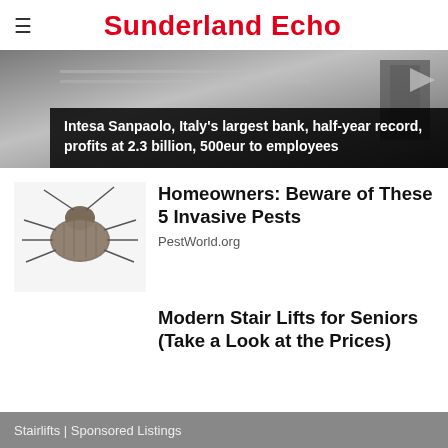Sunderland Echo
[Figure (photo): Hero image showing Intesa Sanpaolo news story with dark overlay caption: Intesa Sanpaolo, Italy's largest bank, half-year record, profits at 2.3 billion, 500eur to employees]
Intesa Sanpaolo, Italy's largest bank, half-year record, profits at 2.3 billion, 500eur to employees
[Figure (photo): Close-up photo of a stink bug (invasive pest) on white background]
Homeowners: Beware of These 5 Invasive Pests
PestWorld.org
Modern Stair Lifts for Seniors (Take a Look at the Prices)
Stairlifts | Sponsored Listings